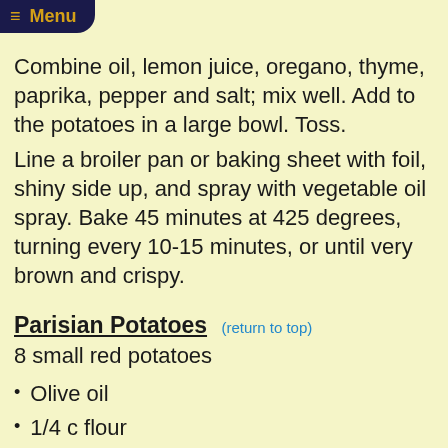≡ Menu
Combine oil, lemon juice, oregano, thyme, paprika, pepper and salt; mix well. Add to the potatoes in a large bowl. Toss.
Line a broiler pan or baking sheet with foil, shiny side up, and spray with vegetable oil spray. Bake 45 minutes at 425 degrees, turning every 10-15 minutes, or until very brown and crispy.
Parisian Potatoes (return to top)
8 small red potatoes
Olive oil
1/4 c flour
2 Tbsp Parmesan cheese
2 Tbsp minced parsley